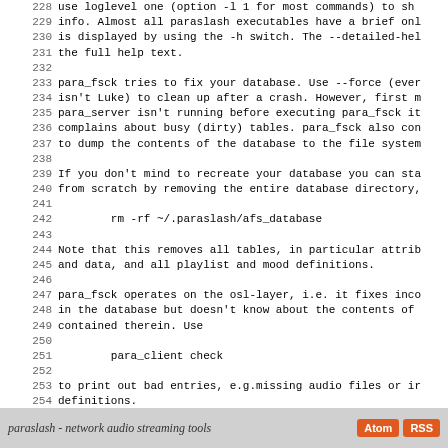228 use loglevel one (option -l 1 for most commands) to sh...
229 info. Almost all paraslash executables have a brief onl...
230 is displayed by using the -h switch. The --detailed-hel...
231 the full help text.
232
233 para_fsck tries to fix your database. Use --force (even...
234 isn't Luke) to clean up after a crash. However, first m...
235 para_server isn't running before executing para_fsck if...
236 complains about busy (dirty) tables. para_fsck also con...
237 to dump the contents of the database to the file system...
238
239 If you don't mind to recreate your database you can sta...
240 from scratch by removing the entire database directory,...
241
242         rm -rf ~/.paraslash/afs_database
243
244 Note that this removes all tables, in particular attrib...
245 and data, and all playlist and mood definitions.
246
247 para_fsck operates on the osl-layer, i.e. it fixes inco...
248 in the database but doesn't know about the contents of...
249 contained therein. Use
250
251         para_client check
252
253 to print out bad entries, e.g.missing audio files or i...
254 definitions.
255
256 Still having problems? mailto: Andre Noll <maan@systeml...
paraslash - network audio streaming tools